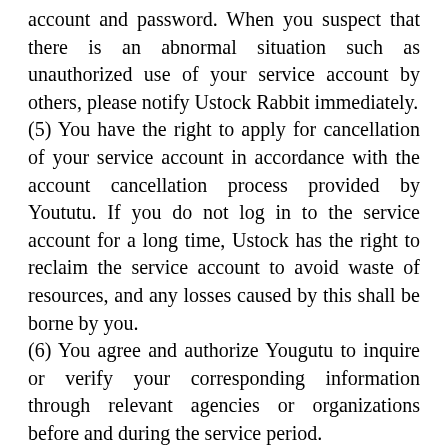account and password. When you suspect that there is an abnormal situation such as unauthorized use of your service account by others, please notify Ustock Rabbit immediately.
(5) You have the right to apply for cancellation of your service account in accordance with the account cancellation process provided by Yoututu. If you do not log in to the service account for a long time, Ustock has the right to reclaim the service account to avoid waste of resources, and any losses caused by this shall be borne by you.
(6) You agree and authorize Yougutu to inquire or verify your corresponding information through relevant agencies or organizations before and during the service period.
3. Access and use of Yougutu software
(1) License of software
Yougutu authorizes you a limited, revocable, non-transferable, non-sublicensable and non-exclusive license to use Yougutu software. You can only use the Yoututu software for the purpose of accessing